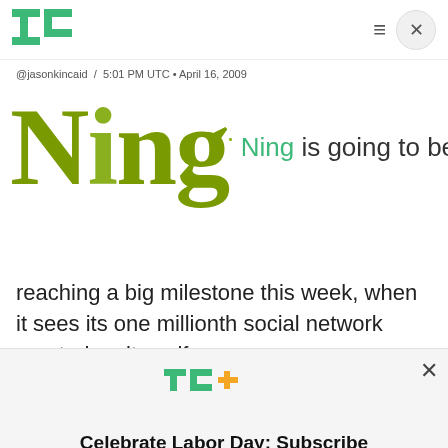TechCrunch logo, hamburger menu, close button
@jasonkincaid / 5:01 PM UTC • April 16, 2009
Ning is going to be reaching a big milestone this week, when it sees its one millionth social network created on its self-
[Figure (logo): TechCrunch+ logo in green and orange]
Celebrate Labor Day: Subscribe TechCrunch+ Today Only for $90/Year.
GET OFFER NOW